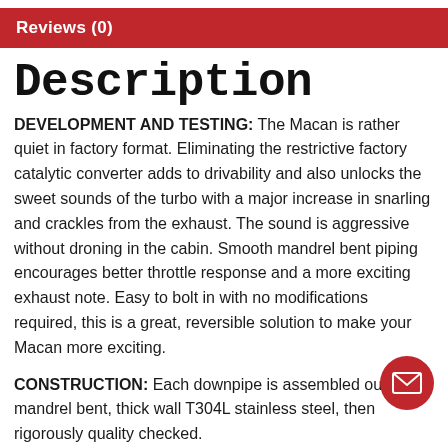Reviews (0)
Description
DEVELOPMENT AND TESTING: The Macan is rather quiet in factory format. Eliminating the restrictive factory catalytic converter adds to drivability and also unlocks the sweet sounds of the turbo with a major increase in snarling and crackles from the exhaust. The sound is aggressive without droning in the cabin. Smooth mandrel bent piping encourages better throttle response and a more exciting exhaust note. Easy to bolt in with no modifications required, this is a great, reversible solution to make your Macan more exciting.
CONSTRUCTION: Each downpipe is assembled out of mandrel bent, thick wall T304L stainless steel, then rigorously quality checked.
BOLT ON AND GO: Every downpipe is rigorously quality-